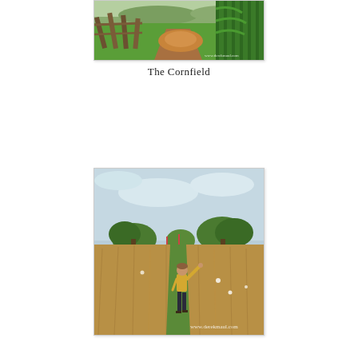[Figure (photo): Landscape photo of a cornfield path with green grass, tall corn on the right, wooden fence ruins on the left, brown hay mound in center, trees and hills in background. Watermark: www.derekmaul.com]
The Cornfield
[Figure (photo): Photo of an open grassy field with a person in yellow top and dark pants standing with arm raised, green trees in background, overcast sky. Watermark: www.derekmaul.com]